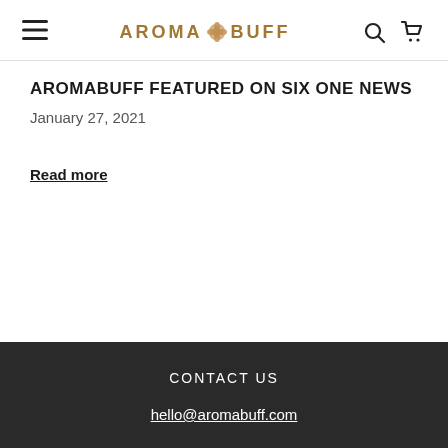AROMA BUFF
AROMABUFF FEATURED ON SIX ONE NEWS
January 27, 2021
Read more
CONTACT US
hello@aromabuff.com